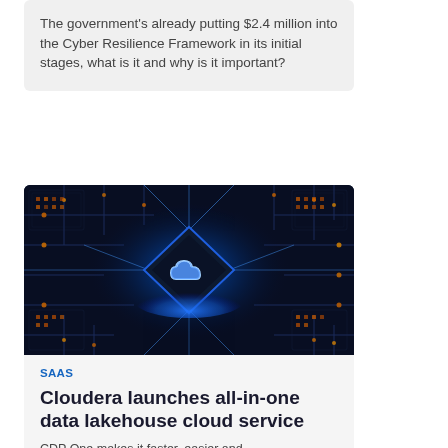The government's already putting $2.4 million into the Cyber Resilience Framework in its initial stages, what is it and why is it important?
[Figure (photo): Close-up photo of a dark blue circuit board with glowing orange circuit traces and a diamond-shaped chip in the center with a glowing blue cloud icon on it, surrounded by bright blue light rays]
SAAS
Cloudera launches all-in-one data lakehouse cloud service
CDP One makes it faster, easier and